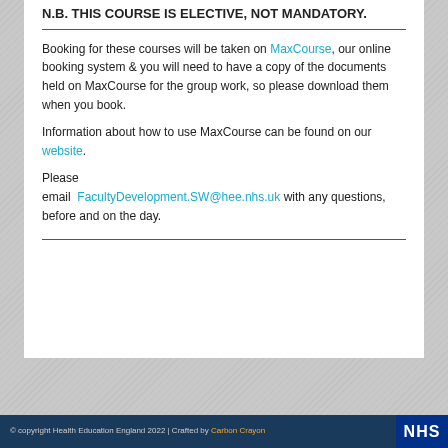N.B. THIS COURSE IS ELECTIVE, NOT MANDATORY.
Booking for these courses will be taken on MaxCourse, our online booking system & you will need to have a copy of the documents held on MaxCourse for the group work, so please download them when you book.
Information about how to use MaxCourse can be found on our website.
Please email FacultyDevelopment.SW@hee.nhs.uk with any questions, before and on the day.
© copyright Health Education England 2022 | Crafted by Carbon Crayon